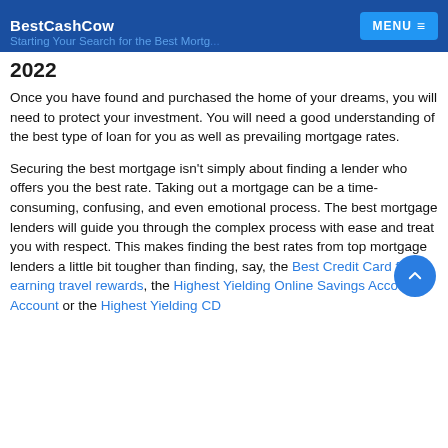BestCashCow | Starting Your Search for the Best Mortgage... 2022
2022
Once you have found and purchased the home of your dreams, you will need to protect your investment. You will need a good understanding of the best type of loan for you as well as prevailing mortgage rates.
Securing the best mortgage isn't simply about finding a lender who offers you the best rate. Taking out a mortgage can be a time-consuming, confusing, and even emotional process. The best mortgage lenders will guide you through the complex process with ease and treat you with respect. This makes finding the best rates from top mortgage lenders a little bit tougher than finding, say, the Best Credit Card for earning travel rewards, the Highest Yielding Online Savings Account Account or the Highest Yielding CD